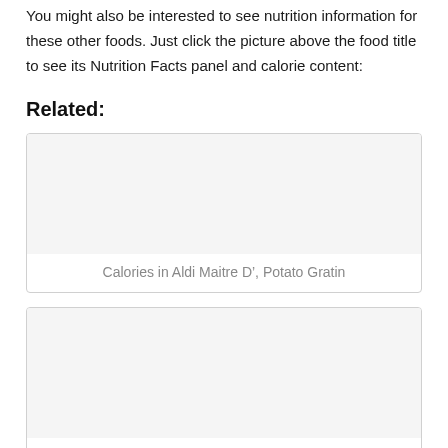You might also be interested to see nutrition information for these other foods. Just click the picture above the food title to see its Nutrition Facts panel and calorie content:
Related:
[Figure (other): Card with placeholder image area for Aldi Maitre D', Potato Gratin]
Calories in Aldi Maitre D', Potato Gratin
[Figure (other): Card with placeholder image area for Calories In Lamb, Leg (Leg Roast, Mini Roast,]
Calories In Lamb, Leg (Leg Roast, Mini Roast,